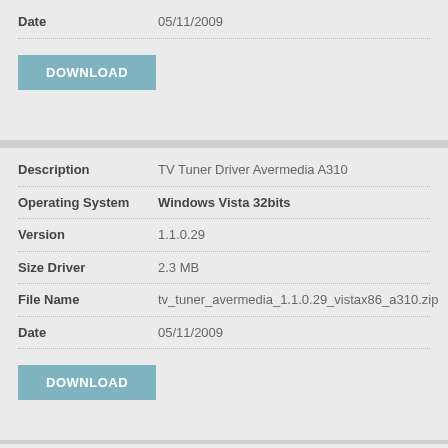| Field | Value |
| --- | --- |
| Date | 05/11/2009 |
DOWNLOAD
| Field | Value |
| --- | --- |
| Description | TV Tuner Driver Avermedia A310 |
| Operating System | Windows Vista 32bits |
| Version | 1.1.0.29 |
| Size Driver | 2.3 MB |
| File Name | tv_tuner_avermedia_1.1.0.29_vistax86_a310.zip |
| Date | 05/11/2009 |
DOWNLOAD